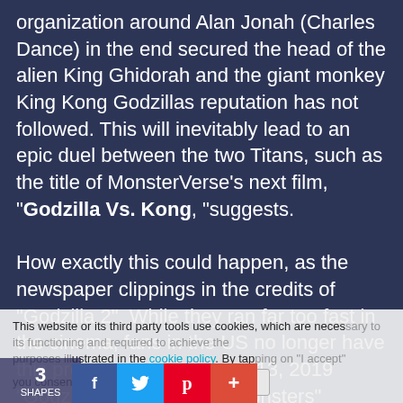organization around Alan Jonah (Charles Dance) in the end secured the head of the alien King Ghidorah and the giant monkey King Kong Godzillas reputation has not followed. This will inevitably lead to an epic duel between the two Titans, such as the title of MonsterVerse's next film, "Godzilla Vs. Kong", "suggests.

How exactly this could happen, as the newspaper clippings in the credits of "Godzilla 2". While they ran far too fast in the cinema, fans in the US no longer have this problem. Since August 13, 2019 "Godzilla 2: King Of The Monsters" can be seen digitally on iTunes and Co. illustrated in the cookie policy. By tapping on "I accept" to the use of cookies.
This website or its third party tools use cookies, which are necessary to its functioning and required to achieve the purposes illustrated in the cookie policy. By tapping on "I accept" you consent to the use of cookies.